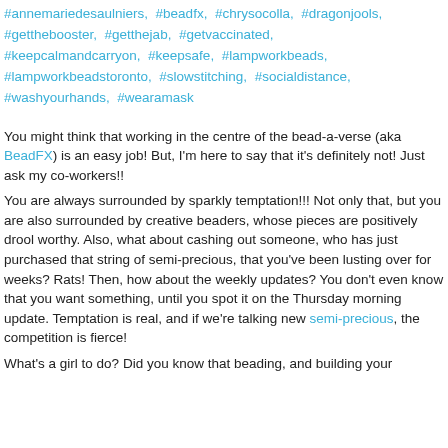#annemariedesaulniers, #beadfx, #chrysocolla, #dragonjools, #getthebooster, #getthejab, #getvaccinated, #keepcalmandcarryon, #keepsafe, #lampworkbeads, #lampworkbeadstoronto, #slowstitching, #socialdistance, #washyourhands, #wearamask
You might think that working in the centre of the bead-a-verse (aka BeadFX) is an easy job! But, I'm here to say that it's definitely not! Just ask my co-workers!!
You are always surrounded by sparkly temptation!!! Not only that, but you are also surrounded by creative beaders, whose pieces are positively drool worthy. Also, what about cashing out someone, who has just purchased that string of semi-precious, that you've been lusting over for weeks? Rats! Then, how about the weekly updates? You don't even know that you want something, until you spot it on the Thursday morning update. Temptation is real, and if we're talking new semi-precious, the competition is fierce!
What's a girl to do? Did you know that beading, and building your